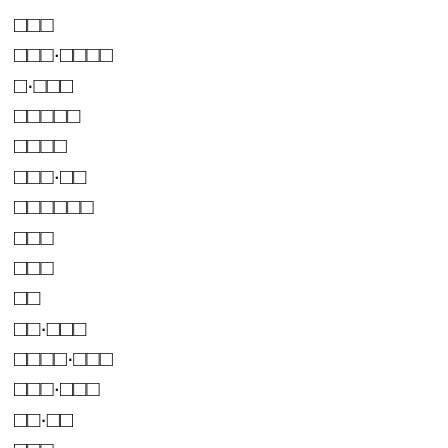□□□
□□□·□□□□
□·□□□
□□□□□
□□□□
□□□·□□
□□□□□□
□□□
□□□
□□
□□·□□□
□□□□·□□□
□□□·□□□
□□·□□
□□□
□□□
□□□□□□□□